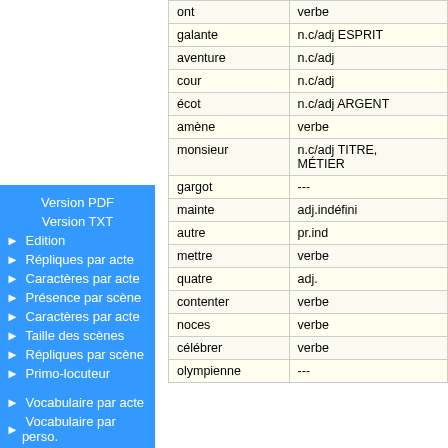|  |  |
| --- | --- |
| ont | verbe |
| galante | n.c/adj ESPRIT |
| aventure | n.c/adj |
| cour | n.c/adj |
| écot | n.c/adj ARGENT |
| amène | verbe |
| monsieur | n.c/adj TITRE, MÉTIER |
| gargot | --- |
| mainte | adj.indéfini |
| autre | pr.ind |
| mettre | verbe |
| quatre | adj. |
| contenter | verbe |
| noces | verbe |
| célébrer | verbe |
| olympienne | --- |
Version PDF
Version TXT
Edition
Répliques par acte
Caractères par acte
Présence par scène
Caractères par acte
Taille des scènes
Répliques par scène
Primo-locuteur
Vocabulaire par acte
Vocabulaire par perso.